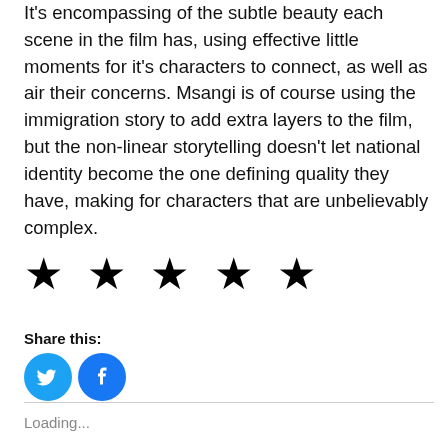It's encompassing of the subtle beauty each scene in the film has, using effective little moments for it's characters to connect, as well as air their concerns. Msangi is of course using the immigration story to add extra layers to the film, but the non-linear storytelling doesn't let national identity become the one defining quality they have, making for characters that are unbelievably complex.
[Figure (other): Five black star rating icons displayed in a row]
Share this:
[Figure (other): Twitter and Facebook social sharing icon buttons (blue circles with white bird and 'f' logos)]
Loading...